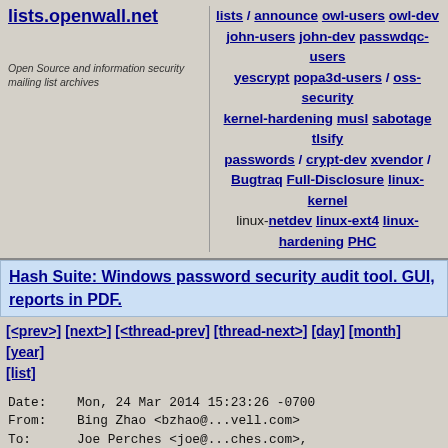lists.openwall.net | Open Source and information security mailing list archives | lists / announce owl-users owl-dev john-users john-dev passwdqc-users yescrypt popa3d-users / oss-security kernel-hardening musl sabotage tlsify passwords / crypt-dev xvendor / Bugtraq Full-Disclosure linux-kernel linux-netdev linux-ext4 linux-hardening PHC
Hash Suite: Windows password security audit tool. GUI, reports in PDF.
[<prev>] [next>] [<thread-prev] [thread-next>] [day] [month] [year] [list]
Date:    Mon, 24 Mar 2014 15:23:26 -0700
From:    Bing Zhao <bzhao@...vell.com>
To:      Joe Perches <joe@...ches.com>,
         "netdev@...r.kernel.org"
<netdev@...r.kernel.org>
CC:      "John W. Linville"
<linville@...driver.com>,
         "linux-wireless@...r.kernel.org"
<linux-wireless@...r.kernel.org>,
         "linux-kernel@...r.kernel.org"
<linux-kernel@...r.kernel.org>